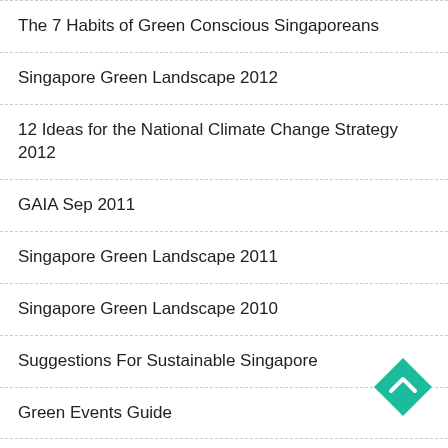The 7 Habits of Green Conscious Singaporeans
Singapore Green Landscape 2012
12 Ideas for the National Climate Change Strategy 2012
GAIA Sep 2011
Singapore Green Landscape 2011
Singapore Green Landscape 2010
Suggestions For Sustainable Singapore
Green Events Guide
What On Earth Are You Doing?